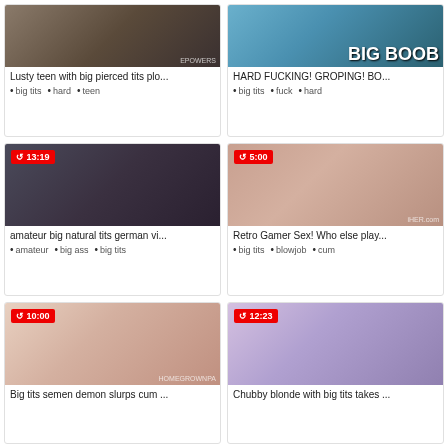[Figure (screenshot): Video thumbnail 1 - top left, no duration badge shown]
Lusty teen with big pierced tits plo...
big tits  •  hard  •  teen
[Figure (screenshot): Video thumbnail 2 - top right, no duration badge shown]
HARD FUCKING! GROPING! BO...
big tits  •  fuck  •  hard
[Figure (screenshot): Video thumbnail 3 - middle left, duration badge 13:19]
amateur big natural tits german vi...
amateur  •  big ass  •  big tits
[Figure (screenshot): Video thumbnail 4 - middle right, duration badge 5:00]
Retro Gamer Sex! Who else play...
big tits  •  blowjob  •  cum
[Figure (screenshot): Video thumbnail 5 - bottom left, duration badge 10:00]
Big tits semen demon slurps cum ...
[Figure (screenshot): Video thumbnail 6 - bottom right, duration badge 12:23]
Chubby blonde with big tits takes ...